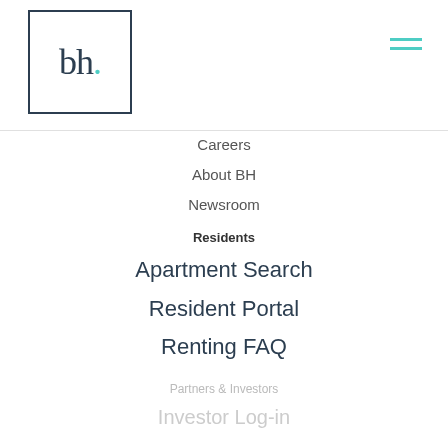[Figure (logo): BH logo — letters 'bh.' inside a square border]
Careers
About BH
Newsroom
Residents
Apartment Search
Resident Portal
Renting FAQ
Partners & Investors
Investor Log-in
Vendor Info
COOKIES & PRIVACY
This website uses cookies to enhance your browsing experience. By using this site, you consent to the use of cookies. For more information on our privacy policy, including the use of cookies, please click here.
Privacy
Privacy Policy
California Privacy Policy
Do Not Sell My Personal Info